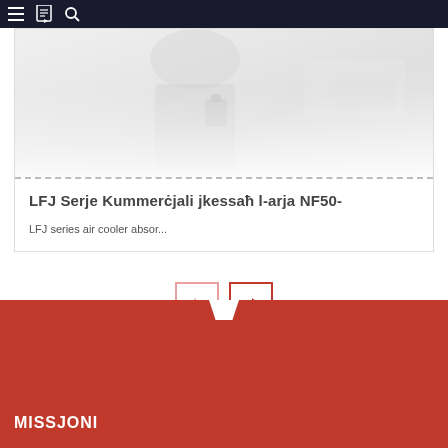Navigation bar with menu, bookmark, and search icons
[Figure (photo): Faded/light-toned photo of a person, partially visible in top portion of card]
LFJ Serje Kummerċjali jkessaħ l-arja NF50-
LFJ series air cooler absor...
[Figure (other): Pagination navigation buttons: left arrow (inactive, light red border) and right arrow (active, dark red border)]
MISSJONI